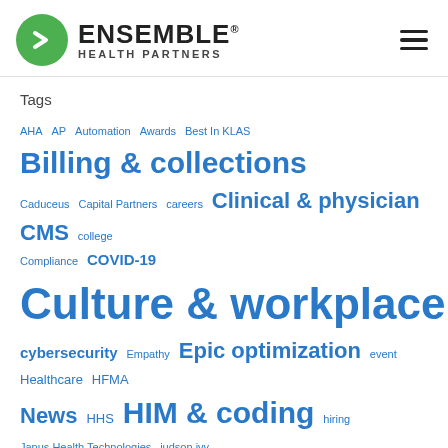[Figure (logo): Ensemble Health Partners logo with green circle containing white chevron/arrow, bold ENSEMBLE text with registered mark, and HEALTH PARTNERS subtitle]
Tags
AHA AP Automation Awards Best In KLAS Billing & collections Caduceus Capital Partners careers Clinical & physician CMS college Compliance COVID-19 Culture & workplace cybersecurity Empathy Epic optimization event Healthcare HFMA News HHS HIM & coding hiring Janus Health Technologies judson ivy KLAS KLAS Research MCIT Repeal Medicare News outsourcing Patents Patient access Patient experience & engagement payor policy Professional development Regulatory updates & industry trends Revenue cycle management Revenue cycle management* Revenue Cycle